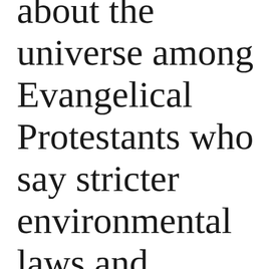about the universe among Evangelical Protestants who say stricter environmental laws and regulations cost too many jobs